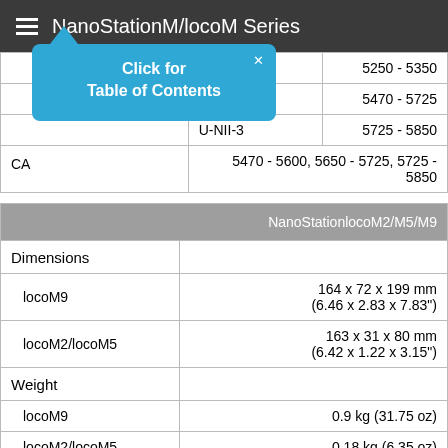NanoStationM/locoM Series
|  | U-NII-2A | 5250 - 5350 |
|  | U-NII-2C | 5470 - 5725 |
|  | U-NII-3 | 5725 - 5850 |
| CA |  | 5470 - 5600, 5650 - 5725, 5725 - 5850 |
| NanoStationlocoM2/M5/M9 |
| --- |
| Dimensions |  |
| locoM9 | 164 x 72 x 199 mm (6.46 x 2.83 x 7.83") |
| locoM2/locoM5 | 163 x 31 x 80 mm (6.42 x 1.22 x 3.15") |
| Weight |  |
| locoM9 | 0.9 kg (31.75 oz) |
| locoM2/locoM5 | 0.18 kg (6.35 oz) |